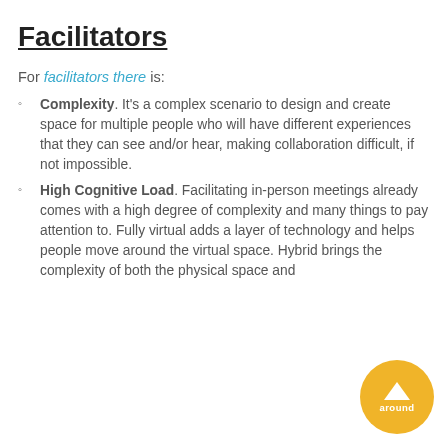Facilitators
For facilitators there is:
Complexity. It's a complex scenario to design and create space for multiple people who will have different experiences that they can see and/or hear, making collaboration difficult, if not impossible.
High Cognitive Load. Facilitating in-person meetings already comes with a high degree of complexity and many things to pay attention to. Fully virtual adds a layer of technology and helps people move around the virtual space. Hybrid brings the complexity of both the physical space and